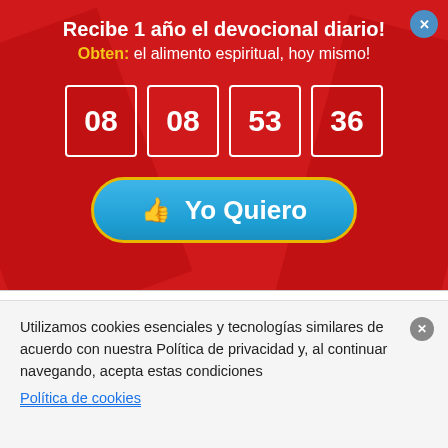Recibe 1 año el devocional diario!
Obten: el alimento espiritual, hoy mismo!
[Figure (other): Countdown timer showing 08 08 53 36 in white-bordered boxes on red background]
Yo Quiero
Kenneth Copeland Ministries Fort Worth, TX 76192-0001
Utilizamos cookies esenciales y tecnologías similares de acuerdo con nuestra Política de privacidad y, al continuar navegando, acepta estas condiciones
Política de cookies